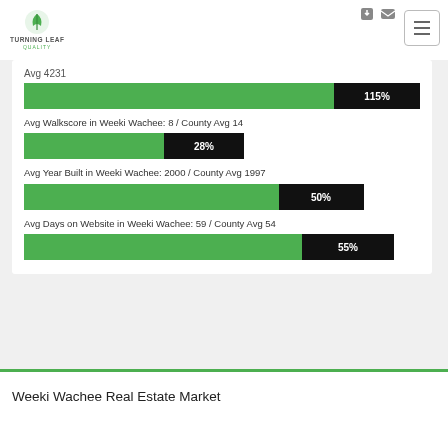[Figure (logo): Turning Leaf Quality logo with green leaf icon]
Avg 4231
[Figure (bar-chart): Avg 4231 bar]
Avg Walkscore in Weeki Wachee: 8 / County Avg 14
[Figure (bar-chart): Walkscore bar]
Avg Year Built in Weeki Wachee: 2000 / County Avg 1997
[Figure (bar-chart): Year built bar]
Avg Days on Website in Weeki Wachee: 59 / County Avg 54
[Figure (bar-chart): Days on website bar]
Weeki Wachee Real Estate Market